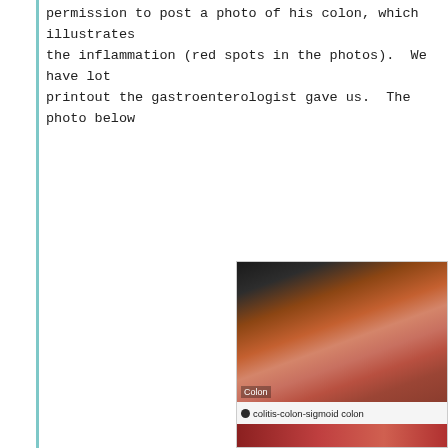permission to post a photo of his colon, which illustrates the inflammation (red spots in the photos). We have lot printout the gastroenterologist gave us. The photo below
[Figure (photo): Medical endoscopy photo of colon showing inflammation with reddish tissue visible, labeled 'Colon'. Below the photo is a caption bar reading 'colitis-colon-sigmoid colon' with a dark circle icon.]